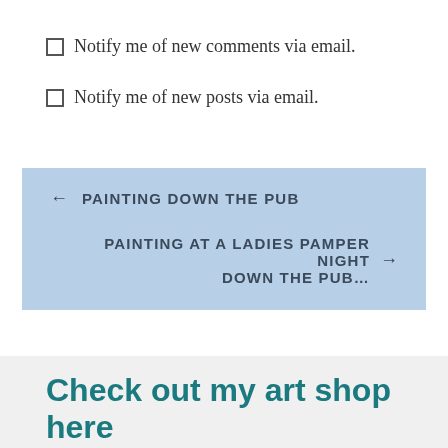☐ Notify me of new comments via email.
☐ Notify me of new posts via email.
← PAINTING DOWN THE PUB
PAINTING AT A LADIES PAMPER NIGHT DOWN THE PUB… →
Check out my art shop here